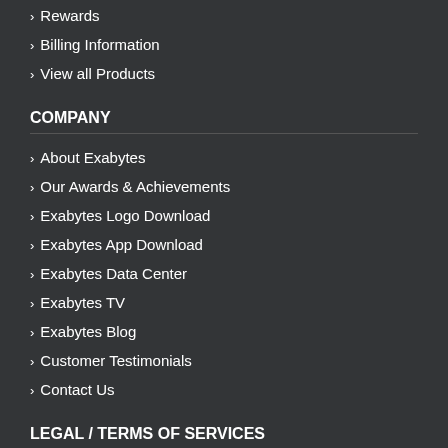> Rewards
> Billing Information
> View all Products
COMPANY
> About Exabytes
> Our Awards & Achievements
> Exabytes Logo Download
> Exabytes App Download
> Exabytes Data Center
> Exabytes TV
> Exabytes Blog
> Customer Testimonials
> Contact Us
LEGAL / TERMS OF SERVICES
> Legal Information